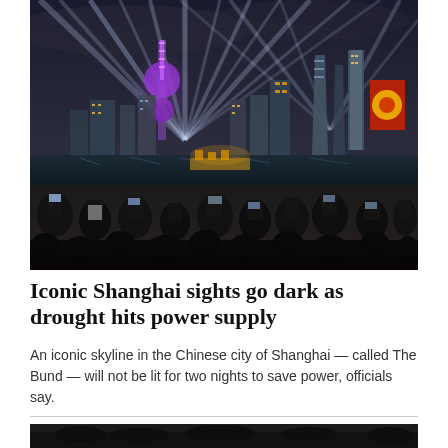[Figure (photo): Night photo of Shanghai's illuminated skyline (the Bund and Pudong district) with colorful searchlights and a crowd of people in the foreground taking photos with their phones.]
Iconic Shanghai sights go dark as drought hits power supply
An iconic skyline in the Chinese city of Shanghai — called The Bund — will not be lit for two nights to save power, officials say.
[Figure (photo): Partial view of a second photo at the bottom of the page, showing a dark scene with a crowd or gathering.]